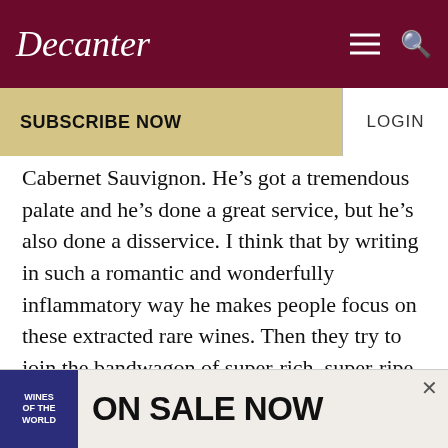Decanter
SUBSCRIBE NOW
LOGIN
Cabernet Sauvignon. He’s got a tremendous palate and he’s done a great service, but he’s also done a disservice. I think that by writing in such a romantic and wonderfully inflammatory way he makes people focus on these extracted rare wines. Then they try to join the bandwagon of super-rich, super-ripe, super-extracted wines, and they can lose sight of the fact that some are pretty difficult to drink at times. There are thousands of wines that are wonderful examples of their type in terms of
[Figure (infographic): Advertisement banner showing Wines of the World book with text ON SALE NOW and a close button]